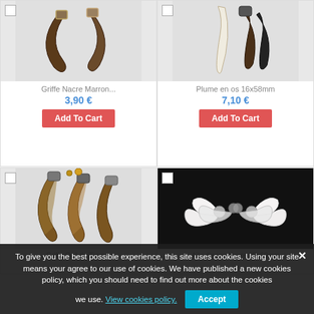[Figure (photo): Brown claw/fang pendant jewelry pieces on light grey background]
Griffe Nacre Marron...
3,90 €
Add To Cart
[Figure (photo): Dark feather/bone pendants on light grey background, 16x58mm]
Plume en os 16x58mm
7,10 €
Add To Cart
[Figure (photo): Tiger eye stone claw/fang pendants with decorative metal caps, brown tones]
Griffe Oeil de Tigre...
[Figure (photo): White angel wing pendants with silver ball, on black background, 35x60mm]
Aile d'ange Nacre 35x60mm
To give you the best possible experience, this site uses cookies. Using your site means your agree to our use of cookies. We have published a new cookies policy, which you should need to find out more about the cookies we use. View cookies policy.
Accept